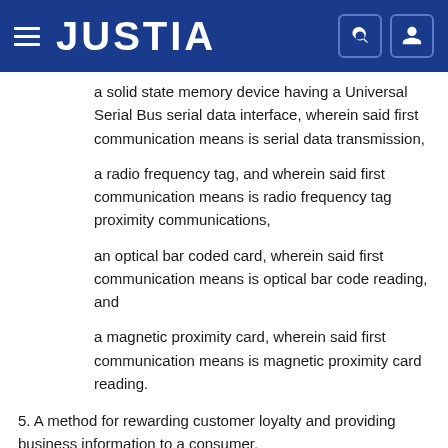JUSTIA
a solid state memory device having a Universal Serial Bus serial data interface, wherein said first communication means is serial data transmission,
a radio frequency tag, and wherein said first communication means is radio frequency tag proximity communications,
an optical bar coded card, wherein said first communication means is optical bar code reading, and
a magnetic proximity card, wherein said first communication means is magnetic proximity card reading.
5. A method for rewarding customer loyalty and providing business information to a consumer,